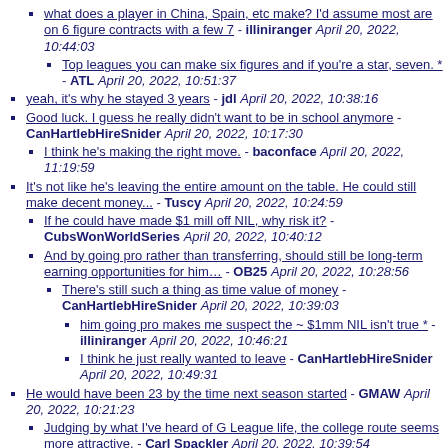what does a player in China, Spain, etc make? I'd assume most are on 6 figure contracts with a few 7 - illiniranger April 20, 2022, 10:44:03
Top leagues you can make six figures and if you're a star, seven. * - ATL April 20, 2022, 10:51:37
yeah, it's why he stayed 3 years - jdl April 20, 2022, 10:38:16
Good luck. I guess he really didn't want to be in school anymore - CanHartlebHireSnider April 20, 2022, 10:17:30
I think he's making the right move. - baconface April 20, 2022, 11:19:59
It's not like he's leaving the entire amount on the table. He could still make decent money... - Tuscy April 20, 2022, 10:24:59
If he could have made $1 mill off NIL, why risk it? - CubsWonWorldSeries April 20, 2022, 10:40:12
And by going pro rather than transferring, should still be long-term earning opportunities for him… - OB25 April 20, 2022, 10:28:56
There's still such a thing as time value of money - CanHartlebHireSnider April 20, 2022, 10:39:03
him going pro makes me suspect the ~ $1mm NIL isn't true * - illiniranger April 20, 2022, 10:46:21
I think he just really wanted to leave - CanHartlebHireSnider April 20, 2022, 10:49:31
He would have been 23 by the time next season started - GMAW April 20, 2022, 10:21:23
Judging by what I've heard of G League life, the college route seems more attractive. - Carl Spackler April 20, 2022, 10:39:54
NIL should really put a damper in the G League. I think they my be able to throw - CubsWonWorldSeries April 20, 2022, 10:43:41